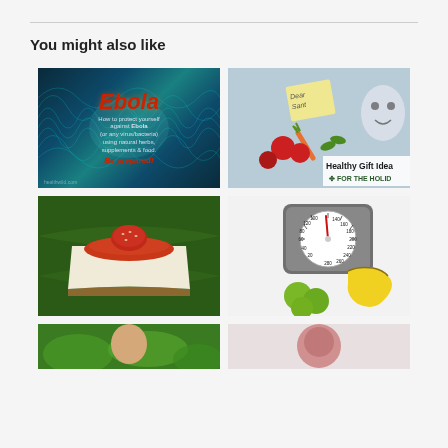You might also like
[Figure (photo): Ebola awareness card with dark teal background and sound wave graphics. Red bold italic text reads 'Ebola'. White text: 'How to protect yourself against Ebola (or any virus/bacteria) using natural herbs, supplements & food.' Red italic text: 'Be prepared!']
[Figure (photo): Healthy Gift Ideas for the Holidays card with illustrated cartoon vegetables, fruits, and a ghost-like figure. Text reads 'Healthy Gift Idea FOR THE HOLID']
[Figure (photo): A slice of cheesecake topped with strawberry jam/sauce on a green leaf background]
[Figure (photo): A bathroom scale with a red needle, surrounded by green apples and a banana on a white background]
[Figure (photo): Partial photo showing green foliage]
[Figure (photo): Partial photo showing a circular close-up, possibly a face or food item]